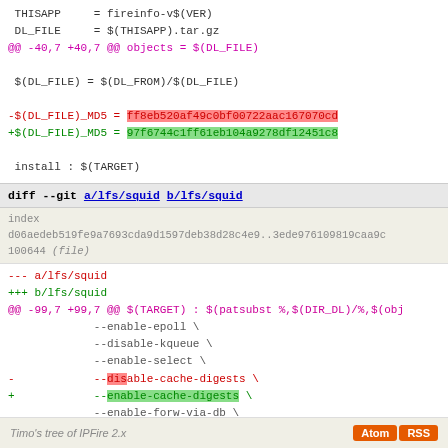THISAPP    = fireinfo-v$(VER)
 DL_FILE     = $(THISAPP).tar.gz
@@ -40,7 +40,7 @@ objects = $(DL_FILE)

 $(DL_FILE) = $(DL_FROM)/$(DL_FILE)

-$(DL_FILE)_MD5 = ff8eb520af49c0bf00722aac167070cd
+$(DL_FILE)_MD5 = 97f6744c1ff61eb104a9278df12451c8

 install : $(TARGET)
diff --git a/lfs/squid b/lfs/squid
index d06aedeb519fe9a7693cda9d1597deb38d28c4e9..3ede976109819caa9c
100644 (file)
--- a/lfs/squid
+++ b/lfs/squid
@@ -99,7 +99,7 @@ $(TARGET) : $(patsubst %,$(DIR_DL)/%,$(obj
             --enable-epoll \
             --disable-kqueue \
             --enable-select \
-            --disable-cache-digests \
+            --enable-cache-digests \
             --enable-forw-via-db \
             --enable-htcp \
             --enable-ipf-transparent \
Timo's tree of IPFire 2.x  Atom  RSS